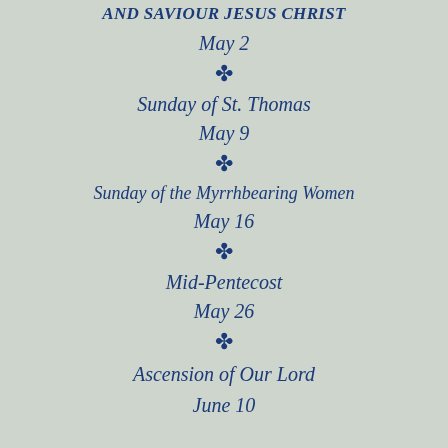AND SAVIOUR JESUS CHRIST
May 2
✤
Sunday of St. Thomas
May 9
✤
Sunday of the Myrrhbearing Women
May 16
✤
Mid-Pentecost
May 26
✤
Ascension of Our Lord
June 10